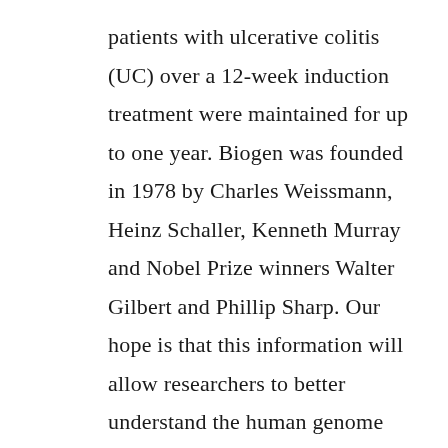patients with ulcerative colitis (UC) over a 12-week induction treatment were maintained for up to one year. Biogen was founded in 1978 by Charles Weissmann, Heinz Schaller, Kenneth Murray and Nobel Prize winners Walter Gilbert and Phillip Sharp. Our hope is that this information will allow researchers to better understand the human genome and identify therapeutic strategies that can specifically target the underlying causes of disease. About TALAPRO-3 Trial The Phase 3, randomized, double-blind, placebo-controlled study in men with DNA damage response (DDR)-deficient